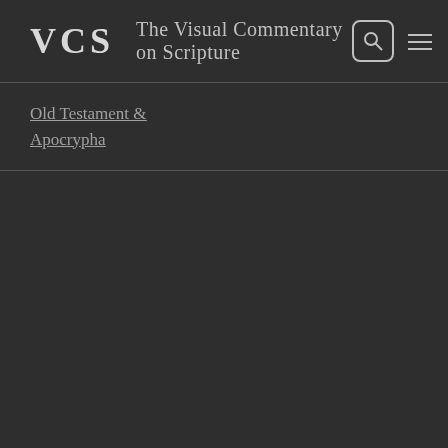VCS The Visual Commentary on Scripture
Old Testament & Apocrypha
Psalm 69